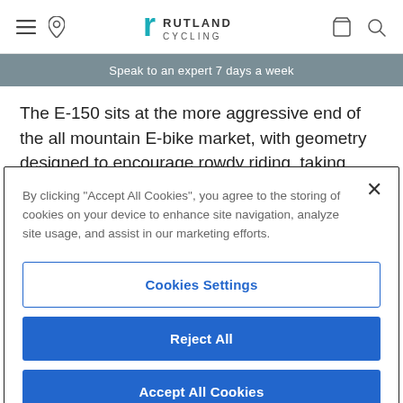Rutland Cycling
Speak to an expert 7 days a week
The E-150 sits at the more aggressive end of the all mountain E-bike market, with geometry designed to encourage rowdy riding, taking chunky descents and steep chutes in its stride.
By clicking "Accept All Cookies", you agree to the storing of cookies on your device to enhance site navigation, analyze site usage, and assist in our marketing efforts.
Cookies Settings
Reject All
Accept All Cookies